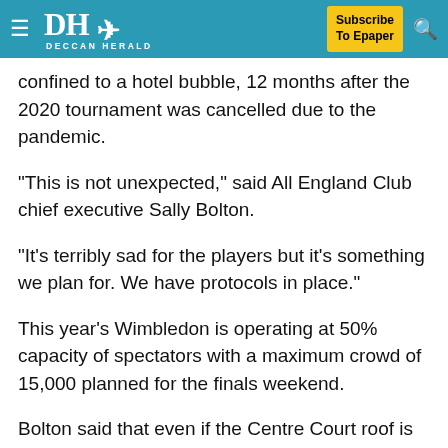≡ DH DECCAN HERALD | Subscribe To Epaper | 🔍
confined to a hotel bubble, 12 months after the 2020 tournament was cancelled due to the pandemic.
"This is not unexpected," said All England Club chief executive Sally Bolton.
"It's terribly sad for the players but it's something we plan for. We have protocols in place."
This year's Wimbledon is operating at 50% capacity of spectators with a maximum crowd of 15,000 planned for the finals weekend.
Bolton said that even if the Centre Court roof is closed for the finals on July 10 and 11, the maximum number of fans